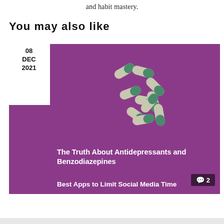and habit mastery.
You may also like
08 DEC 2021
[Figure (photo): Green and white capsule pills scattered on a purple/magenta background, with overlaid article titles: 'The Truth About Antidepressants and Benzodiazepines' and 'Best Apps to Limit Social Media Time', and a comment count badge showing 2.]
The Truth About Antidepressants and Benzodiazepines
Best Apps to Limit Social Media Time